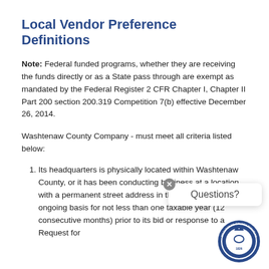Local Vendor Preference Definitions
Note: Federal funded programs, whether they are receiving the funds directly or as a State pass through are exempt as mandated by the Federal Register 2 CFR Chapter I, Chapter II Part 200 section 200.319 Competition 7(b) effective December 26, 2014.
Washtenaw County Company - must meet all criteria listed below:
Its headquarters is physically located within Washtenaw County, or it has been conducting business at a location with a permanent street address in the County on an ongoing basis for not less than one taxable year (12 consecutive months) prior to its bid or response to a Request for